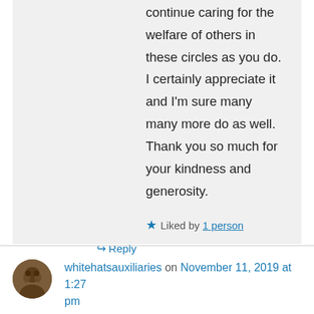continue caring for the welfare of others in these circles as you do. I certainly appreciate it and I'm sure many many more do as well. Thank you so much for your kindness and generosity.
★ Liked by 1 person
↳ Reply
whitehatsauxiliaries on November 11, 2019 at 1:27 pm